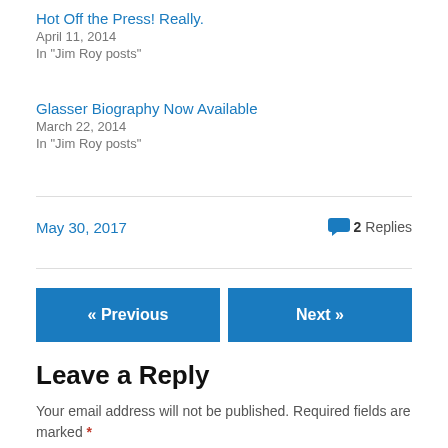Hot Off the Press! Really.
April 11, 2014
In "Jim Roy posts"
Glasser Biography Now Available
March 22, 2014
In "Jim Roy posts"
May 30, 2017
2 Replies
« Previous
Next »
Leave a Reply
Your email address will not be published. Required fields are marked *